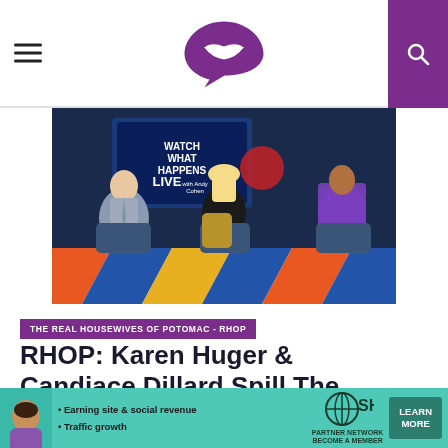Gossip/entertainment website header with hamburger menu, lips logo, and search button
[Figure (photo): Three people sitting on chairs on the Watch What Happens Live with Andy Cohen set. Left: man in grey suit. Center: blonde woman in black dress. Right: woman in purple and black patterned outfit. Colorful geometric floor visible.]
THE REAL HOUSEWIVES OF POTOMAC - RHOP
RHOP: Karen Huger & Candiace Dillard Spill The Tea!
May 7, 2018
[Figure (infographic): SHE Media partner network advertisement. Shows woman avatar. Bullet points: Earning site & social revenue, Traffic growth. SHE Media logo. Learn More button.]